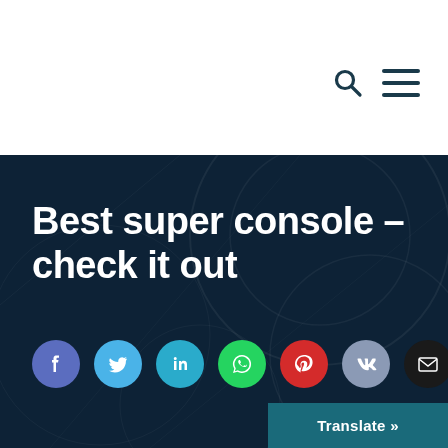Best super console – check it out
[Figure (infographic): Social sharing buttons row: Facebook (blue), Twitter (light blue), LinkedIn (teal), WhatsApp (green), Pinterest (red), VK (grey-blue), Email (black)]
Translate »